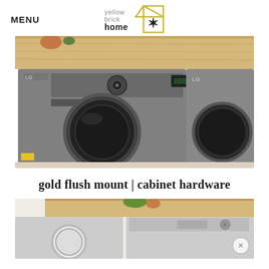MENU
[Figure (logo): Yellow Brick Home logo with house outline and star]
[Figure (photo): LG front-load washer and dryer in stainless steel finish under a butcher block wood countertop, laundry room setting]
gold flush mount | cabinet hardware
[Figure (photo): Close-up of white front-load washers under a butcher block countertop with plants, partial view]